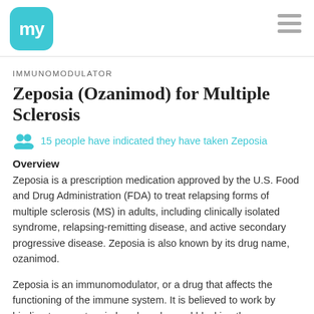my (logo) | hamburger menu
IMMUNOMODULATOR
Zeposia (Ozanimod) for Multiple Sclerosis
15 people have indicated they have taken Zeposia
Overview
Zeposia is a prescription medication approved by the U.S. Food and Drug Administration (FDA) to treat relapsing forms of multiple sclerosis (MS) in adults, including clinically isolated syndrome, relapsing-remitting disease, and active secondary progressive disease. Zeposia is also known by its drug name, ozanimod.
Zeposia is an immunomodulator, or a drug that affects the functioning of the immune system. It is believed to work by binding to receptors in lymph nodes and blocking the